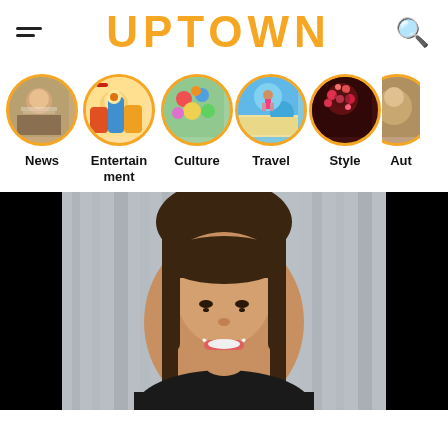UPTOWN
News
Entertainment
Culture
Travel
Style
Aut…
[Figure (photo): Portrait of a smiling woman with long dark hair and bangs, wearing a black top, chin resting on hand, against a blurred background.]